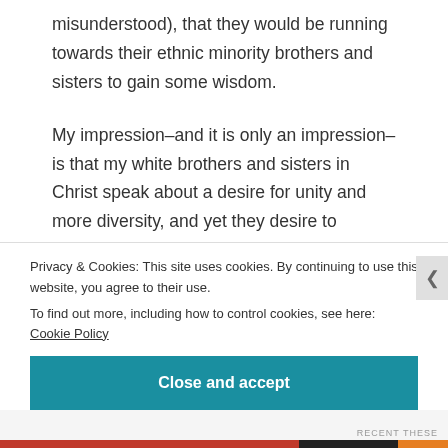misunderstood), that they would be running towards their ethnic minority brothers and sisters to gain some wisdom.
My impression–and it is only an impression–is that my white brothers and sisters in Christ speak about a desire for unity and more diversity, and yet they desire to accomplish this without actually talking about race and the historical realities whose consequences are still at work today. I would love to see more of an attitude from these brothers and sisters of "I might not
Privacy & Cookies: This site uses cookies. By continuing to use this website, you agree to their use.
To find out more, including how to control cookies, see here: Cookie Policy
Close and accept